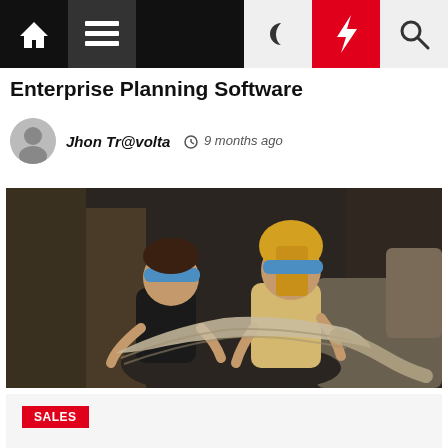Navigation bar with home, menu, moon, bolt, and search icons
Enterprise Planning Software
Jhon Tr@volta  9 months ago
[Figure (photo): Two blindfolded women sitting together working on a knitted blanket in a dimly lit industrial setting with a couch]
SALES